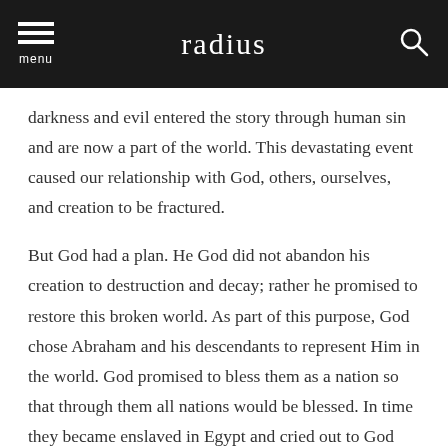radius
darkness and evil entered the story through human sin and are now a part of the world. This devastating event caused our relationship with God, others, ourselves, and creation to be fractured.
But God had a plan. He God did not abandon his creation to destruction and decay; rather he promised to restore this broken world. As part of this purpose, God chose Abraham and his descendants to represent Him in the world. God promised to bless them as a nation so that through them all nations would be blessed. In time they became enslaved in Egypt and cried out to God because of their oppression. God heard their cry, liberated them from their oppressor, and brought them to